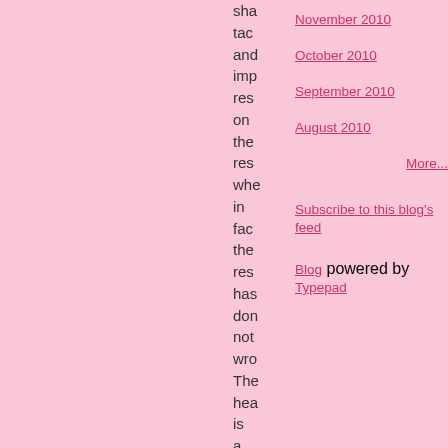sha tac and imp res on the res whe in fac the res has don not wro The hea is a bit mis
November 2010
October 2010
September 2010
August 2010
More...
Subscribe to this blog's feed
Blog powered by Typepad